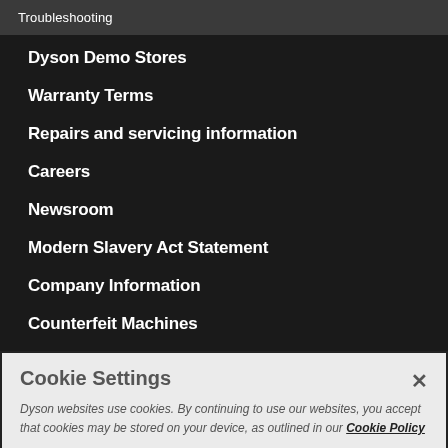Troubleshooting
Dyson Demo Stores
Warranty Terms
Repairs and servicing information
Careers
Newsroom
Modern Slavery Act Statement
Company Information
Counterfeit Machines
Cookie Settings
Dyson websites use cookies. By continuing to use our websites, you accept that cookies may be stored on your device, as outlined in our Cookie Policy